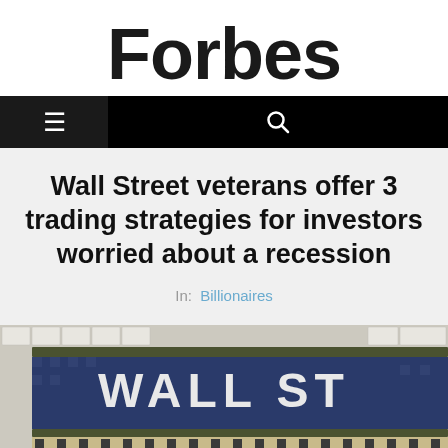Forbes
Wall Street veterans offer 3 trading strategies for investors worried about a recession
In:  Billionaires
[Figure (photo): Wall Street subway station sign, white mosaic tiles with blue and white WALL ST sign, person visible at bottom]